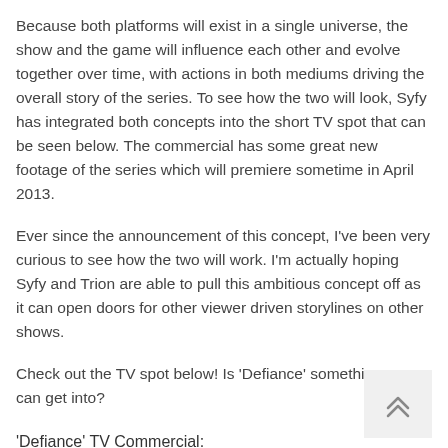Because both platforms will exist in a single universe, the show and the game will influence each other and evolve together over time, with actions in both mediums driving the overall story of the series. To see how the two will look, Syfy has integrated both concepts into the short TV spot that can be seen below. The commercial has some great new footage of the series which will premiere sometime in April 2013.
Ever since the announcement of this concept, I've been very curious to see how the two will work. I'm actually hoping Syfy and Trion are able to pull this ambitious concept off as it can open doors for other viewer driven storylines on other shows.
Check out the TV spot below! Is 'Defiance' something you can get into?
'Defiance' TV Commercial:
[Figure (other): Back to top button with double chevron up arrow icon]